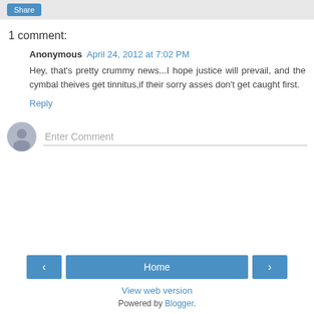Share
1 comment:
Anonymous  April 24, 2012 at 7:02 PM
Hey, that's pretty crummy news...I hope justice will prevail, and the cymbal theives get tinnitus,if their sorry asses don't get caught first.
Reply
Enter Comment
Home
View web version
Powered by Blogger.